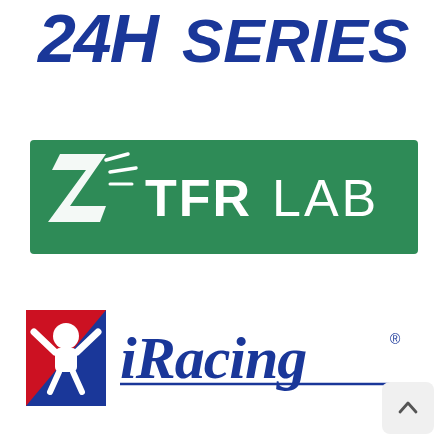[Figure (logo): 24H SERIES logo in bold blue italic text on white background]
[Figure (logo): TFR LAB logo — white text and stylized 'Z/L' icon on green rectangle background]
[Figure (logo): iRacing logo — blue and red racing figure icon on left, blue italic 'iRacing' text with checkered underline on right]
[Figure (other): Scroll-to-top UI button with upward chevron arrow in gray rounded square]